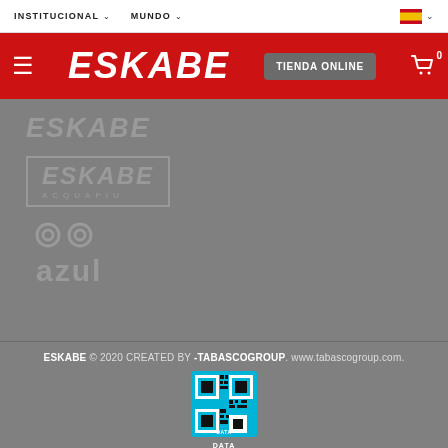INSTITUCIONAL  MUNDO
[Figure (logo): ESKABE logo in white on red background with TIENDA ONLINE button and cart icon]
[Figure (logo): ESKABE plain gray logo]
[Figure (logo): ESKABE ACQUAPIU logo with border]
[Figure (logo): Oro Azul logo in gray]
ESKABE © 2020 CREATED BY -TABASCOGROUP. www.tabascogroup.com.
[Figure (other): DATA FISCAL QR code]